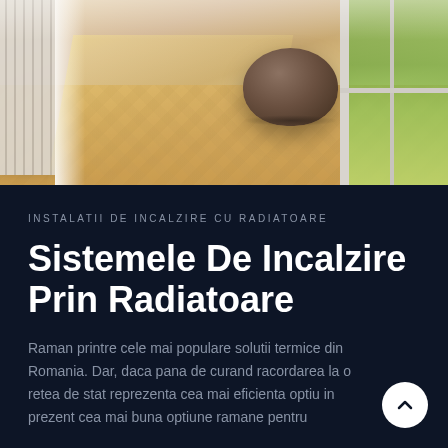[Figure (photo): Interior room photo showing a radiator on the left wall, wooden herringbone parquet floor with sunlight beams, a brown knitted pouf in the center-right, and a window with greenery on the far right]
INSTALATII DE INCALZIRE CU RADIATOARE
Sistemele De Incalzire Prin Radiatoare
Raman printre cele mai populare solutii termice din Romania. Dar, daca pana de curand racordarea la o retea de stat reprezenta cea mai eficienta optiu in prezent cea mai buna optiune ramane pentru